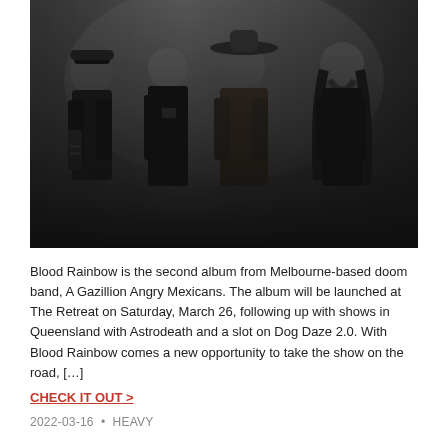[Figure (photo): Black and white photo of four members of the band A Gazillion Angry Mexicans standing against a dark background, all wearing dark clothing.]
Blood Rainbow is the second album from Melbourne-based doom band, A Gazillion Angry Mexicans. The album will be launched at The Retreat on Saturday, March 26, following up with shows in Queensland with Astrodeath and a slot on Dog Daze 2.0. With Blood Rainbow comes a new opportunity to take the show on the road, […]
CHECK IT OUT >
2022-03-16 • HEAVY